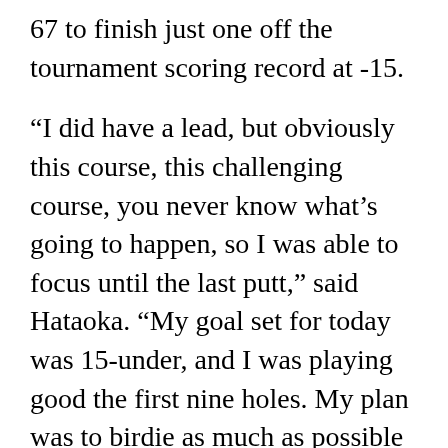67 to finish just one off the tournament scoring record at -15.
“I did have a lead, but obviously this course, this challenging course, you never know what’s going to happen, so I was able to focus until the last putt,” said Hataoka. “My goal set for today was 15-under, and I was playing good the first nine holes. My plan was to birdie as much as possible on the first nine holes, and I feel like I was able to do that. So that helped me a lot.”
Hataoka started out of the gate with a birdie on the opening hole and posted two more on Nos. 4 and 5. After making a